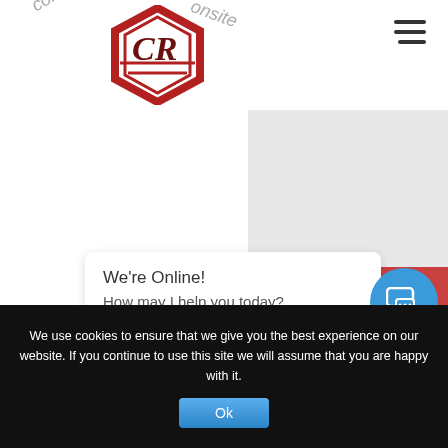[Figure (screenshot): Website screenshot showing a CR hexagon logo in red, partial curved text 'comp' and 'onsite', hamburger menu icon top right, grey content box, red GET A QUOTE button, live chat bubble saying 'We're Online! How may I help you today?' with a blue chat icon circle, a dark photo strip, and a black cookie consent bar with Ok button.]
We're Online!
How may I help you today?
We use cookies to ensure that we give you the best experience on our website. If you continue to use this site we will assume that you are happy with it.